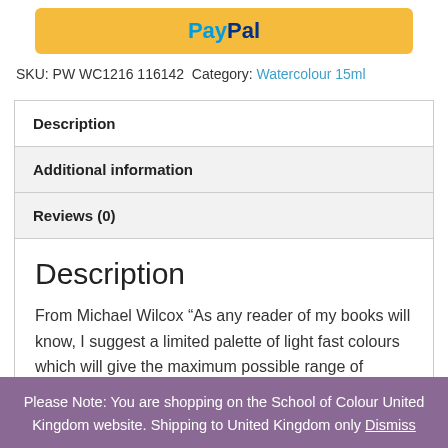[Figure (logo): PayPal button with yellow background and PayPal logo in blue text]
SKU: PW WC1216 116142 Category: Watercolour 15ml
| Description |
| Additional information |
| Reviews (0) |
Description
From Michael Wilcox “As any reader of my books will know, I suggest a limited palette of light fast colours which will give the maximum possible range of mixes. I do not base any of
Please Note: You are shopping on the School of Colour United Kingdom website. Shipping to United Kingdom only Dismiss